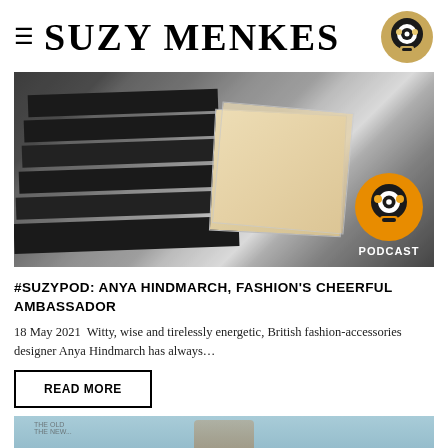SUZY MENKES
[Figure (photo): Hero image showing notebooks/sketchbooks on a table with hands writing, overlaid with a podcast badge featuring a cartoon character mascot on an orange circle with text PODCAST]
#SUZYPOD: ANYA HINDMARCH, FASHION'S CHEERFUL AMBASSADOR
18 May 2021  Witty, wise and tirelessly energetic, British fashion-accessories designer Anya Hindmarch has always…
READ MORE
[Figure (photo): Partial bottom image, appears to be another article thumbnail, light blue tones]